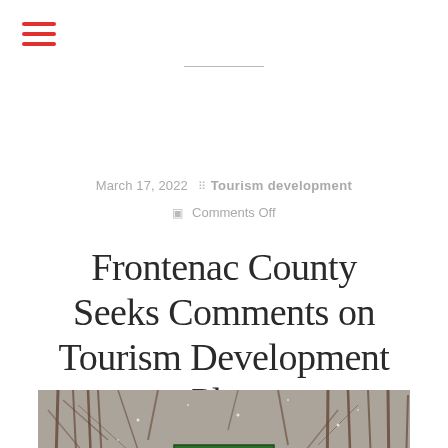≡ (hamburger menu icon)
March 17, 2022  ::: Tourism development  □ Comments Off
Frontenac County Seeks Comments on Tourism Development Plan
[Figure (photo): Outdoor winter photo showing bare trees with a green Frontenac County park sign visible in the center foreground, with snow falling or on branches. Sign shows a shield logo with trees and water, reading FRONTENAC.]